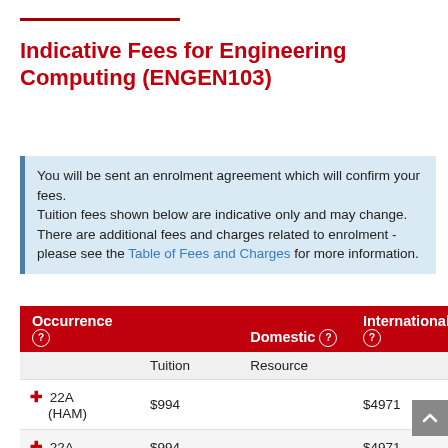Indicative Fees for Engineering Computing (ENGEN103)
You will be sent an enrolment agreement which will confirm your fees. Tuition fees shown below are indicative only and may change. There are additional fees and charges related to enrolment - please see the Table of Fees and Charges for more information.
| Occurrence | Domestic (Tuition) | Domestic (Resource) | International |
| --- | --- | --- | --- |
| 22A (HAM) | $994 |  | $4971 |
| 22A | $994 |  | $4971 |